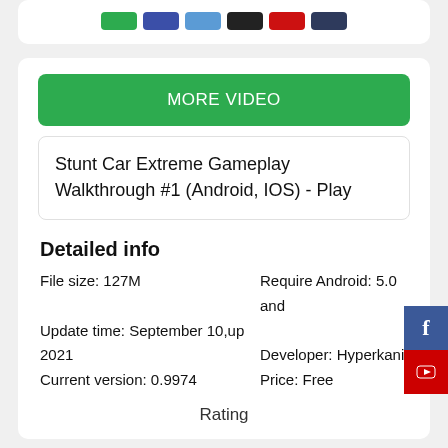[Figure (other): Row of colored rectangles: green, dark blue, light blue, black, red, dark navy]
MORE VIDEO
Stunt Car Extreme Gameplay Walkthrough #1 (Android, IOS) - Play
Detailed info
File size: 127M
Update time: September 10,up
2021
Current version: 0.9974
Require Android: 5.0 and
Developer: Hyperkani
Price: Free
Rating